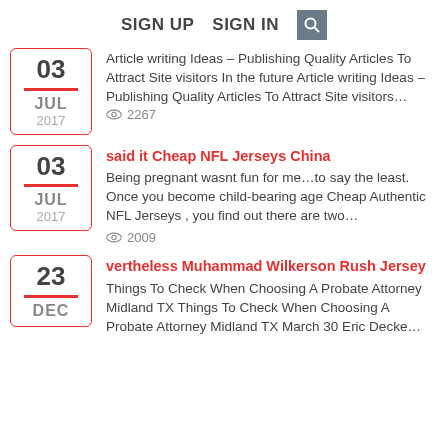SIGN UP   SIGN IN   [search]
03 JUL 2017 — Article writing Ideas – Publishing Quality Articles To Attract Site visitors In the future Article writing Ideas – Publishing Quality Articles To Attract Site visitors… | views: 2267
said it Cheap NFL Jerseys China — 03 JUL 2017 — Being pregnant wasnt fun for me…to say the least. Once you become child-bearing age Cheap Authentic NFL Jerseys , you find out there are two… | views: 2009
vertheless Muhammad Wilkerson Rush Jersey — 23 DEC — Things To Check When Choosing A Probate Attorney Midland TX Things To Check When Choosing A Probate Attorney Midland TX March 30 Eric Decke…